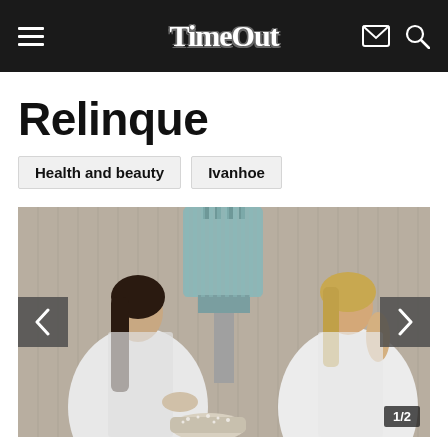TimeOut
Relinque
Health and beauty
Ivanhoe
[Figure (photo): Two women in white spa robes standing in a tiled spa room with a decorative blue cylindrical pendant lamp, one reaching toward a bowl of salt crystals. Carousel showing 1 of 2 images.]